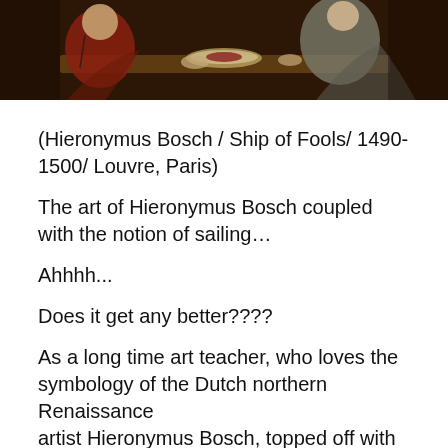[Figure (photo): Cropped detail of Hieronymus Bosch painting 'Ship of Fools', showing figures around a table with food and drink, dark background.]
(Hieronymus Bosch / Ship of Fools/ 1490-1500/ Louvre, Paris)
The art of Hieronymus Bosch coupled with the notion of sailing…
Ahhhh...
Does it get any better????
As a long time art teacher, who loves the symbology of the Dutch northern Renaissance
artist Hieronymus Bosch, topped off with notion of sailing…sailing along a
warm air current, I was actually transported back to a